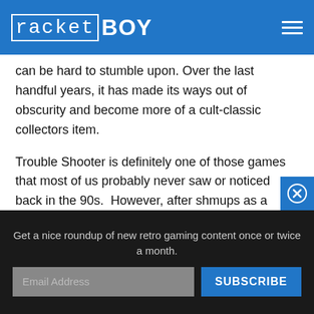racketBOY
can be hard to stumble upon. Over the last handful years, it has made its ways out of obscurity and become more of a cult-classic collectors item.
Trouble Shooter is definitely one of those games that most of us probably never saw or noticed back in the 90s. However, after shmups as a genre have grown on us retro fans and we start to appreciate interesting art direction and rather stunning cover artwork, its hard to not desire to have a mint copy of Trouble Shooter sitting
Get a nice roundup of new retro gaming content once or twice a month.